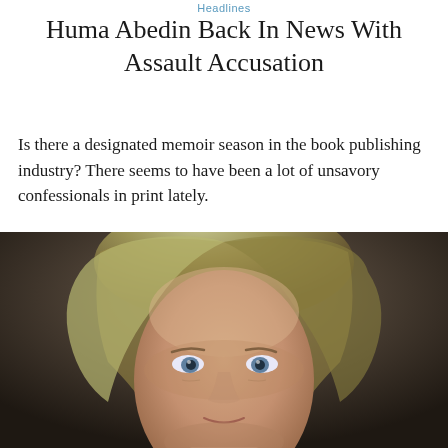Headlines
Huma Abedin Back In News With Assault Accusation
Is there a designated memoir season in the book publishing industry? There seems to have been a lot of unsavory confessionals in print lately.
[Figure (photo): Portrait illustration of a woman with blonde-streaked hair and blue eyes against a dark background.]